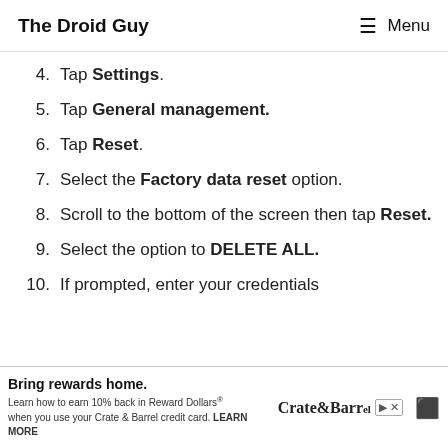The Droid Guy  Menu
4. Tap Settings.
5. Tap General management.
6. Tap Reset.
7. Select the Factory data reset option.
8. Scroll to the bottom of the screen then tap Reset.
9. Select the option to DELETE ALL.
10. If prompted, enter your credentials
[Figure (screenshot): Crate & Barrel advertisement banner: 'Bring rewards home. Learn how to earn 10% back in Reward Dollars when you use your Crate & Barrel credit card. LEARN MORE']